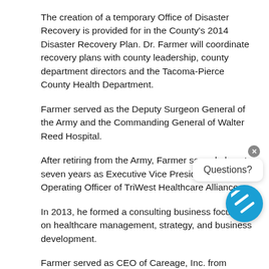The creation of a temporary Office of Disaster Recovery is provided for in the County's 2014 Disaster Recovery Plan. Dr. Farmer will coordinate recovery plans with county leadership, county department directors and the Tacoma-Pierce County Health Department.
Farmer served as the Deputy Surgeon General of the Army and the Commanding General of Walter Reed Hospital.
After retiring from the Army, Farmer served almost seven years as Executive Vice President and Chief Operating Officer of TriWest Healthcare Alliance.
In 2013, he formed a consulting business focused on healthcare management, strategy, and business development.
Farmer served as CEO of Careage, Inc. from October 2016 to January 2019. Careage, based in Gig Harbor, Wash., owns and operates senior living communities,